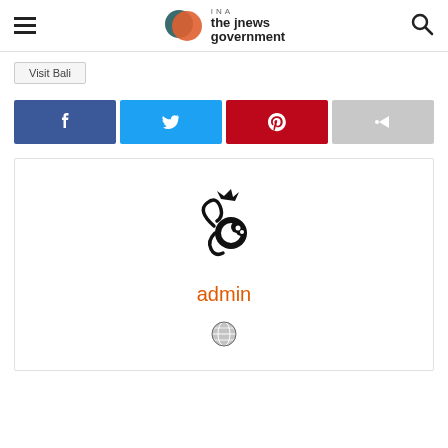INA the jnews government
Visit Bali
[Figure (other): Social share buttons: Facebook, Twitter, Pinterest, Share]
[Figure (logo): Author profile card with decorative monkey/crown logo icon, name 'admin' in orange, and a globe icon below]
admin